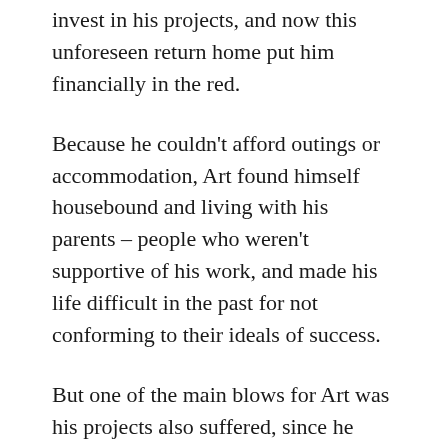invest in his projects, and now this unforeseen return home put him financially in the red.
Because he couldn't afford outings or accommodation, Art found himself housebound and living with his parents – people who weren't supportive of his work, and made his life difficult in the past for not conforming to their ideals of success.
But one of the main blows for Art was his projects also suffered, since he didn't have his creative networks within reach to collaborate with, or his trusty fans to perform to.
Art was teetering on a dangerous edge, mentally.